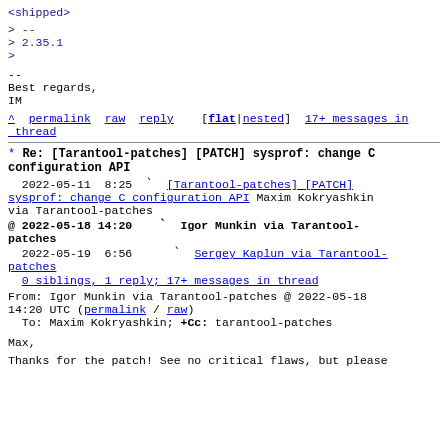<shipped>

> --
> 2.35.1
>
--
Best regards,
IM
^ permalink  raw  reply    [flat|nested]  17+ messages in thread
* Re: [Tarantool-patches] [PATCH] sysprof: change C configuration API
2022-05-11  8:25  `  [Tarantool-patches] [PATCH] sysprof: change C configuration API  Maxim Kokryashkin via Tarantool-patches
@ 2022-05-18 14:20     ` Igor Munkin via Tarantool-patches
  2022-05-19  6:56       ` Sergey Kaplun via Tarantool-patches
  0 siblings, 1 reply; 17+ messages in thread
From: Igor Munkin via Tarantool-patches @ 2022-05-18 14:20 UTC (permalink / raw)
  To: Maxim Kokryashkin; +Cc: tarantool-patches
Max,
Thanks for the patch! See no critical flaws, but please